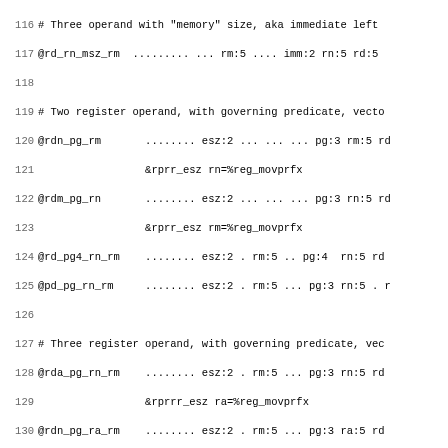116 # Three operand with "memory" size, aka immediate left
117 @rd_rn_msz_rm  ......... ... rm:5 .... imm:2 rn:5 rd:5
118 
119 # Two register operand, with governing predicate, vecto
120 @rdn_pg_rm       ........ esz:2 ... ... ... pg:3 rm:5 rd
121                  &rprr_esz rn=%reg_movprfx
122 @rdm_pg_rn       ........ esz:2 ... ... ... pg:3 rn:5 rd
123                  &rprr_esz rm=%reg_movprfx
124 @rd_pg4_rn_rm    ........ esz:2 . rm:5 .. pg:4  rn:5 rd
125 @pd_pg_rn_rm     ........ esz:2 . rm:5 ... pg:3 rn:5 . r
126 
127 # Three register operand, with governing predicate, vec
128 @rda_pg_rn_rm    ........ esz:2 . rm:5 ... pg:3 rn:5 rd
129                  &rprrr_esz ra=%reg_movprfx
130 @rdn_pg_ra_rm    ........ esz:2 . rm:5 ... pg:3 ra:5 rd
131                  &rprrr_esz rn=%reg_movprfx
132 @rdn_pg_rm_ra    ........ esz:2 . ra:5 ... pg:3 rm:5 rd
133                  &rprrr_esz rn=%reg_movprfx
134 
135 # One register operand, with governing predicate, vecto
136 @rd_pg_rn        ........ esz:2 ... ... ... pg:3 rn:5 rd
137 @rd_pg4_pn       ........ esz:2 ... ... .. pg:4 . rn:4 r
138 
139 # One register operand, with governing predicate, no ve
140 @rd_pg_rn_e0     ........ .. ... ... ... pg:3 rn:5 rd:5
141 
142 # Two register operands with a 6-bit signed immediate.
143 @rd_rn_i6        ........ ... rn:5 ..... imm:s6 rd:5
144 
145 # Two register operand, one immediate operand, with pre
146 # element size encoded as TSZHL. User must fill in imm
147 @rdn_pg_tszimm   ........ ttt:tt... pg:3 ...  rd:5